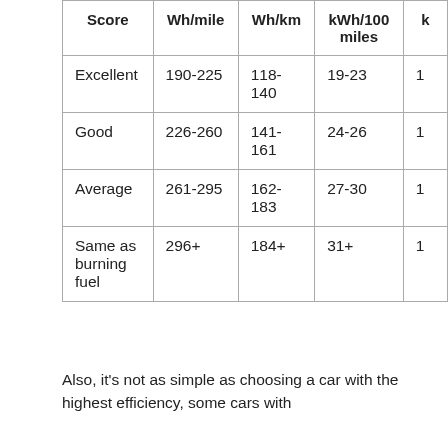| Score | Wh/mile | Wh/km | kWh/100 miles | k... |
| --- | --- | --- | --- | --- |
| Excellent | 190-225 | 118-140 | 19-23 | 1 |
| Good | 226-260 | 141-161 | 24-26 | 1 |
| Average | 261-295 | 162-183 | 27-30 | 1 |
| Same as burning fuel | 296+ | 184+ | 31+ | 1 |
Also, it's not as simple as choosing a car with the highest efficiency, some cars with